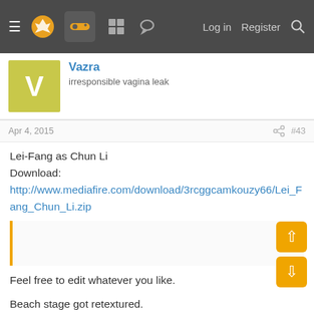≡ [logo] [controller icon] [grid icon] [chat icon]  Log in  Register  🔍
Vazra
irresponsible vagina leak
Apr 4, 2015  #43
Lei-Fang as Chun Li
Download:
http://www.mediafire.com/download/3rcggcamkouzy66/Lei_Fang_Chun_Li.zip
Feel free to edit whatever you like.
Beach stage got retextured.
Original
[Figure (screenshot): Screenshot of a fighting game beach stage showing health bars with infinity symbol and palm trees in the background.]